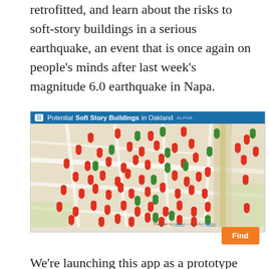retrofitted, and learn about the risks to soft-story buildings in a serious earthquake, an event that is once again on people's minds after last week's magnitude 6.0 earthquake in Napa.
[Figure (map): A screenshot of a web application titled 'Potential Soft Story Buildings in Oakland ALPHA' showing a map with red and green location pins indicating soft-story buildings throughout an Oakland neighborhood. The map is powered by Leaflet and data by MapQuest. There is an orange 'Find' button in the lower right.]
We're launching this app as a prototype with